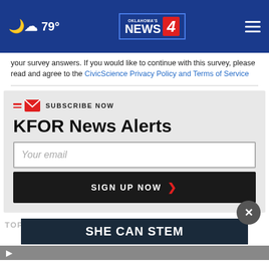79° Oklahoma's News 4
your survey answers. If you would like to continue with this survey, please read and agree to the CivicScience Privacy Policy and Terms of Service
SUBSCRIBE NOW
KFOR News Alerts
Your email
SIGN UP NOW
TOP S
SHE CAN STEM